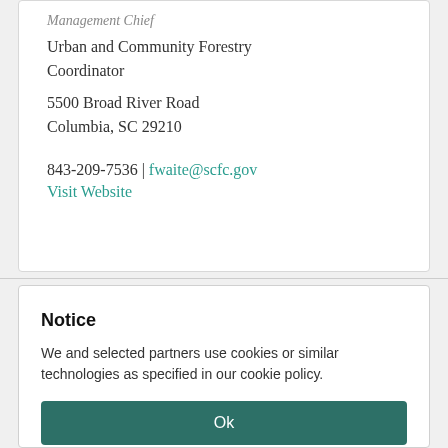Management Chief
Urban and Community Forestry Coordinator
5500 Broad River Road
Columbia, SC 29210
843-209-7536 | fwaite@scfc.gov
Visit Website
Notice
We and selected partners use cookies or similar technologies as specified in our cookie policy.
Ok
Cookie Policy